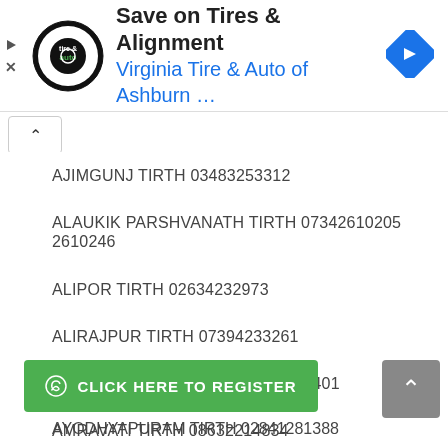[Figure (other): Advertisement banner for Virginia Tire & Auto of Ashburn with logo and navigation arrow icon]
AJIMGUNJ TIRTH 03483253312
ALAUKIK PARSHVANATH TIRTH 07342610205 2610246
ALIPOR TIRTH 02634232973
ALIRAJPUR TIRTH 07394233261
AMIZARA TIRTH 07292261444 232401
AMRAVATI TIRTH 08632214834
ANASTU 02666232225 234049
ANTRIXJI TIRTH 07254234005
AYODHYAPURAM TIRTH 02841281388